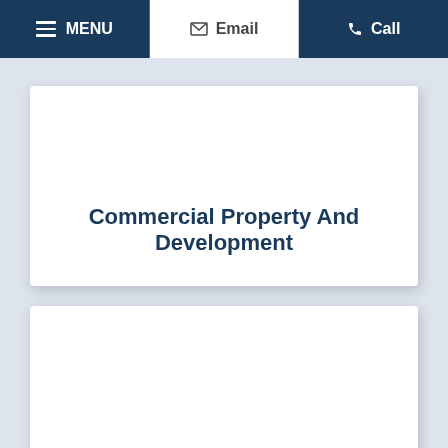MENU | Email | Call
Commercial Property And Development
[Figure (other): Second card — partially visible white card below the main card]